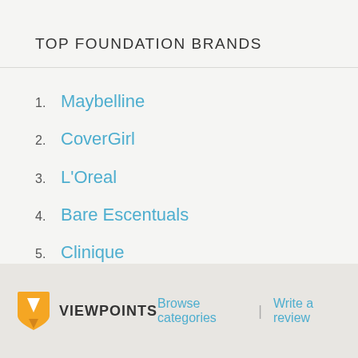TOP FOUNDATION BRANDS
1. Maybelline
2. CoverGirl
3. L'Oreal
4. Bare Escentuals
5. Clinique
VIEWPOINTS   Browse categories | Write a review